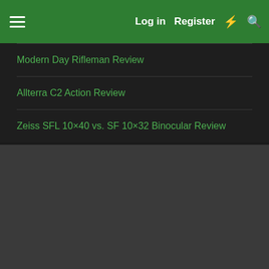Log in  Register
Modern Day Rifleman Review
Allterra C2 Action Review
Zeiss SFL 10×40 vs. SF 10×32 Binocular Review
[Figure (other): Gray placeholder/advertisement block]